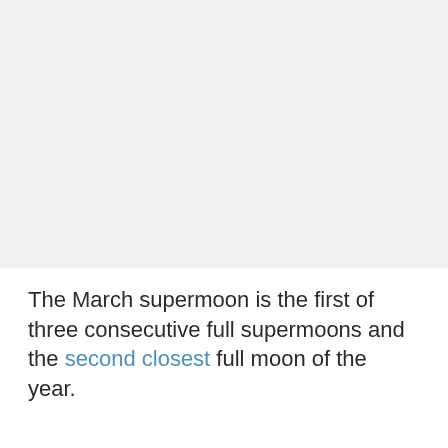[Figure (photo): Large image area showing a supermoon or night sky photograph (appears as a light gray placeholder)]
The March supermoon is the first of three consecutive full supermoons and the second closest full moon of the year.